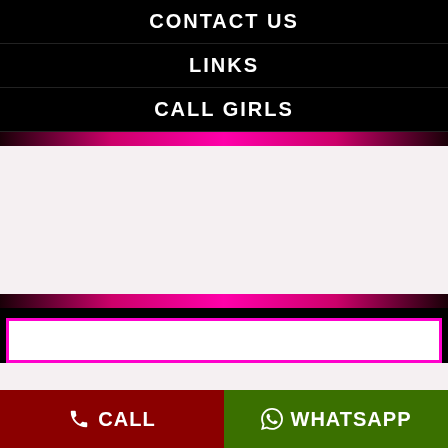CONTACT US
LINKS
CALL GIRLS
CALL   WHATSAPP